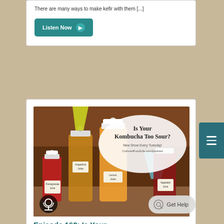There are many ways to make kefir with them [...]
[Figure (illustration): Listen Now button with teal/green background and arrow icon]
[Figure (photo): Photo of multiple kombucha bottles with colored liquids (red, amber, orange) with funnels and handwritten labels. Overlaid with a speech bubble reading 'Is Your Kombucha Too Sour? New Show Every Tuesday! CulturedFoodLife.com/podcast'. Podcast microphone icon in bottom left corner.]
Episode 162: Is Your